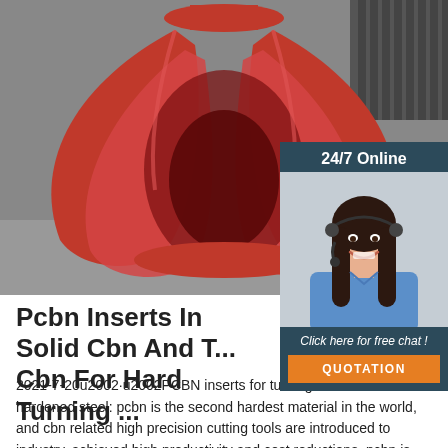[Figure (photo): Red industrial claw/grab attachment (orange-peel grapple) photographed on a concrete floor, with machinery tracks visible in the upper right. The claw is large and has multiple curved red steel arms forming a spherical grip.]
[Figure (photo): Sidebar widget with dark blue-grey background showing '24/7 Online' text, a smiling woman wearing a headset (customer service representative), text 'Click here for free chat!' and an orange QUOTATION button.]
Pcbn Inserts In Solid Cbn And T... Cbn For Hard Turning ...
2021-7-20u2002·u2002PCBN inserts for turning cast iron and hardened steel: pcbn is the second hardest material in the world, and cbn related high precision cutting tools are introduced to industry, achieved high productivity and cost reductions. pcbn is the short name of polycrystalline cubic boron nitride, and pcbn inserts are mainly for the hard metal turning to replace the